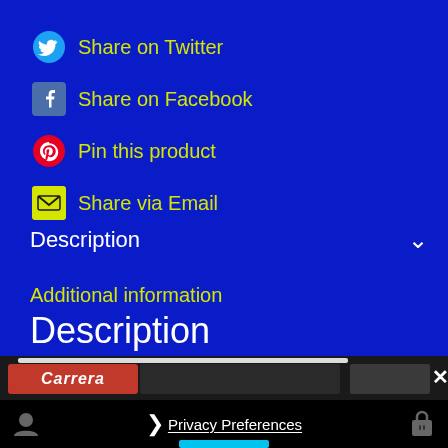Share on Twitter
Share on Facebook
Pin this product
Share via Email
Description
Additional information
Description
[Figure (screenshot): Carrera logo and dark overlay panel with progress bar]
Privacy Preferences